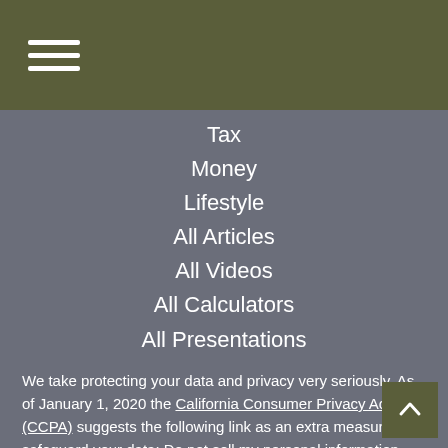[Figure (other): Hamburger menu icon (three horizontal white lines) on dark olive/green top bar background]
Tax
Money
Lifestyle
All Articles
All Videos
All Calculators
All Presentations
We take protecting your data and privacy very seriously. As of January 1, 2020 the California Consumer Privacy Act (CCPA) suggests the following link as an extra measure to safeguard your data: Do not sell my personal information
Copyright 2022 Agency Revolution.